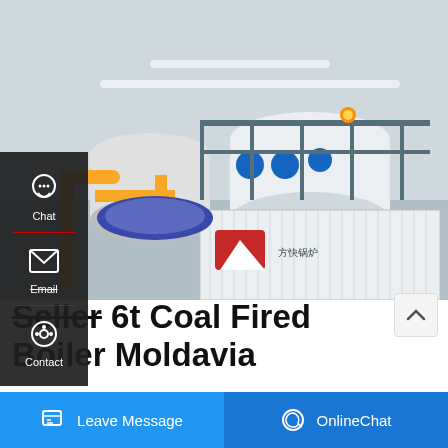[Figure (photo): Industrial boiler facility showing large cylindrical boilers with yellow piping, blue valves, metal walkways, and industrial equipment. A white container/unit with Chinese characters and a red logo is visible in the foreground.]
Seller 6t Coal Fired Boiler Moldavia
1t Biomass Fired Steam Boiler Dealer Industrial Estonia. Supplier ... red boiler Armenia. Industrial Gas Oil ... Natural Gas Hot Water Boiler 0 1t/h-